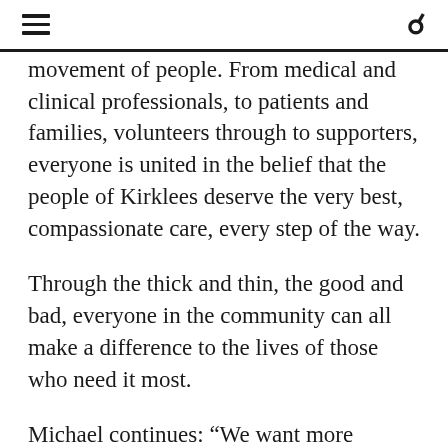[hamburger menu] [search icon]
movement of people. From medical and clinical professionals, to patients and families, volunteers through to supporters, everyone is united in the belief that the people of Kirklees deserve the very best, compassionate care, every step of the way.
Through the thick and thin, the good and bad, everyone in the community can all make a difference to the lives of those who need it most.
Michael continues: “We want more people to reach out for our care and to inspire new supporters to make a positive difference. We cannot succeed alone,